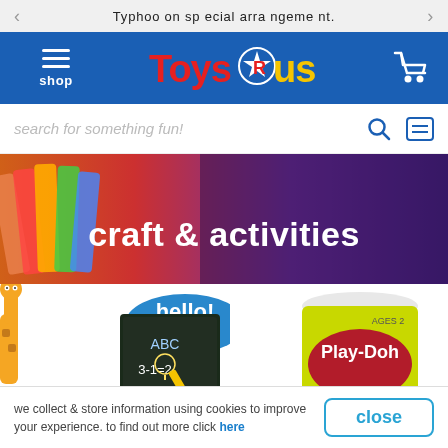Typhoon special arrangement.
[Figure (logo): Toys R Us logo on blue header bar with hamburger menu 'shop' on left and shopping cart icon on right]
search for something fun!
[Figure (photo): Hero banner with colorful crayons and blurred background. Large white bold text reads 'craft & activities']
[Figure (photo): Giraffe mascot with 'hello!' speech bubble and Chinese text '想看中文?', chalkboard product, Play-Doh yellow canister product]
we collect & store information using cookies to improve your experience. to find out more click here
close